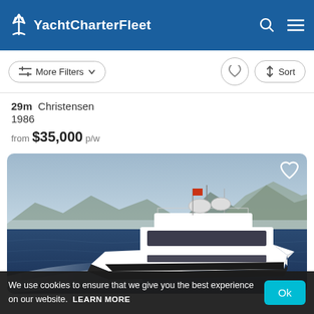YachtCharterFleet
More Filters  ↑↓ Sort
29m  Christensen
1986
from $35,000 p/w
[Figure (photo): A white motor yacht cruising on dark blue water with mountainous coastline in the background under hazy sky.]
We use cookies to ensure that we give you the best experience on our website.  LEARN MORE  Ok